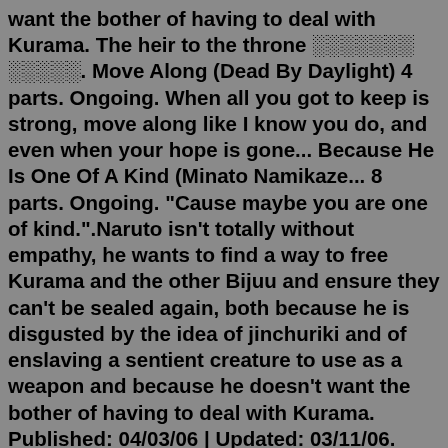want the bother of having to deal with Kurama. The heir to the throne ░░░░░░░ ░░░░░. Move Along (Dead By Daylight) 4 parts. Ongoing. When all you got to keep is strong, move along like I know you do, and even when your hope is gone... Because He Is One Of A Kind (Minato Namikaze... 8 parts. Ongoing. "Cause maybe you are one of kind.".Naruto isn't totally without empathy, he wants to find a way to free Kurama and the other Bijuu and ensure they can't be sealed again, both because he is disgusted by the idea of jinchuriki and of enslaving a sentient creature to use as a weapon and because he doesn't want the bother of having to deal with Kurama. Published: 04/03/06 | Updated: 03/11/06. Title: Love Me, My Brother by lunaryu. Rated: 18 [ Reviews - 141] Summary: Sasuke and Naruto are mortal enemies and rivals in their high school. However, 'things' happen when their single parent decided to marry each other. Now they're forced to live under the same roof!Title: Truthspeaker by fUnKyToEs. Rated: 15 [ Reviews - 206] Summary: The story of a girl who fake...